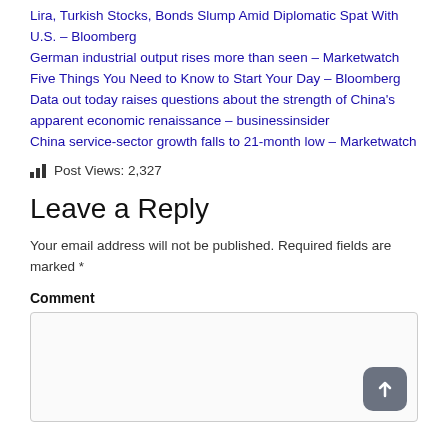Lira, Turkish Stocks, Bonds Slump Amid Diplomatic Spat With U.S. – Bloomberg
German industrial output rises more than seen – Marketwatch
Five Things You Need to Know to Start Your Day – Bloomberg
Data out today raises questions about the strength of China's apparent economic renaissance – businessinsider
China service-sector growth falls to 21-month low – Marketwatch
Post Views: 2,327
Leave a Reply
Your email address will not be published. Required fields are marked *
Comment